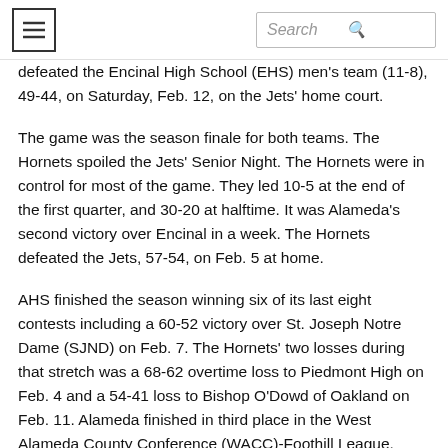Search
defeated the Encinal High School (EHS) men's team (11-8), 49-44, on Saturday, Feb. 12, on the Jets' home court.
The game was the season finale for both teams. The Hornets spoiled the Jets' Senior Night. The Hornets were in control for most of the game. They led 10-5 at the end of the first quarter, and 30-20 at halftime. It was Alameda's second victory over Encinal in a week. The Hornets defeated the Jets, 57-54, on Feb. 5 at home.
AHS finished the season winning six of its last eight contests including a 60-52 victory over St. Joseph Notre Dame (SJND) on Feb. 7. The Hornets' two losses during that stretch was a 68-62 overtime loss to Piedmont High on Feb. 4 and a 54-41 loss to Bishop O'Dowd of Oakland on Feb. 11. Alameda finished in third place in the West Alameda County Conference (WACC)-Foothill League. They went 8-4 in league play. Their four losses were at the hands of Piedmont and Bishop O'Dowd who both beat the Hornets twice this season.